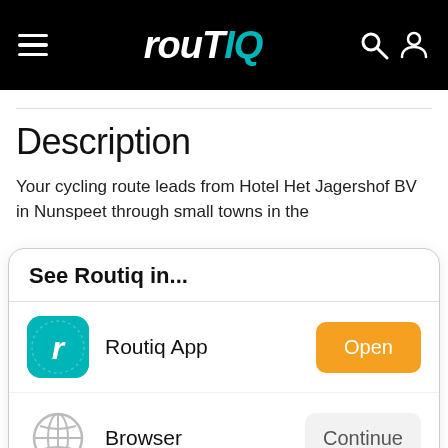routIQ
Description
Your cycling route leads from Hotel Het Jagershof BV in Nunspeet through small towns in the
See Routiq in...
Routiq App
Open
Browser
Continue